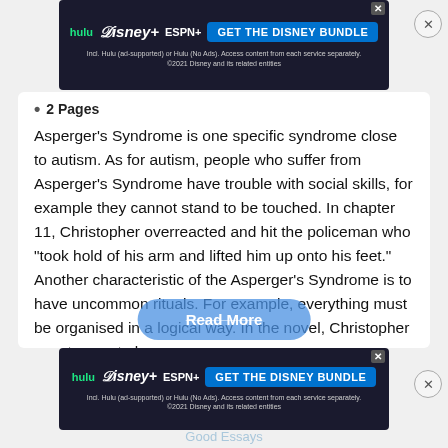[Figure (other): Hulu Disney+ ESPN+ GET THE DISNEY BUNDLE advertisement banner at top of page]
2 Pages
Asperger's Syndrome is one specific syndrome close to autism. As for autism, people who suffer from Asperger's Syndrome have trouble with social skills, for example they cannot stand to be touched. In chapter 11, Christopher overreacted and hit the policeman who "took hold of his arm and lifted him up onto his feet." Another characteristic of the Asperger's Syndrome is to have uncommon rituals. For example, everything must be organised in a logical way. In the novel, Christopher counts cars to know…
[Figure (other): Read More button]
[Figure (other): Hulu Disney+ ESPN+ GET THE DISNEY BUNDLE advertisement banner at bottom of page]
Good Essays